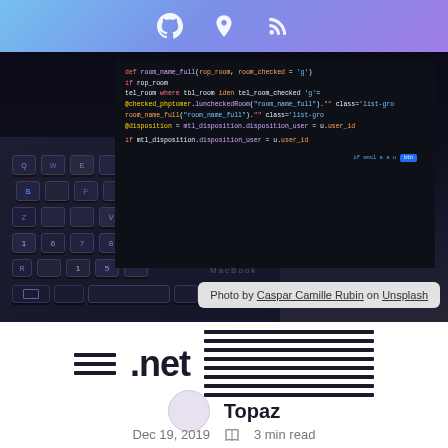Navigation header with GitHub, location pin, and RSS feed icons
[Figure (photo): Dark laptop (MacBook) keyboard in foreground with a code editor screen in background showing colorful syntax-highlighted code on dark background]
Photo by Caspar Camille Rubin on Unsplash
.net
Topaz
Dec 19, 2019 · 3 min read